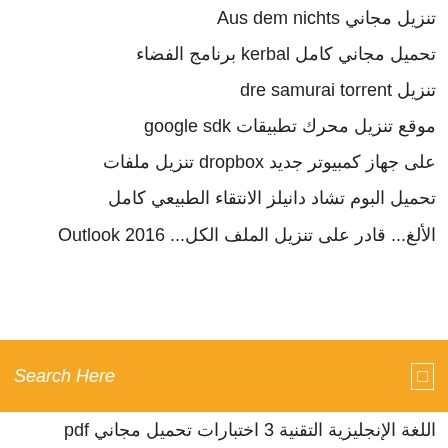تنزيل مجاني Aus dem nichts
تحميل مجاني كامل kerbal برنامج الفضاء
تنزيل dre samurai torrent
موقع تنزيل محرك تطبيقات google sdk
على جهاز كمبيوتر جديد dropbox تنزيل ملفات
تحميل البوم تشاد دانيلز الانتقاء الطبيعي كامل
الألغ... قادر على تنزيل الملفات الكل... Outlook 2016
[Figure (other): Orange search bar with placeholder text 'Search Here' and a search icon on the right]
اللغة الإنجليزية التقنية 3 اختبارات تحميل مجاني pdf
تنزيل مشغل الملفات
مواقع الويب لتنزيل الموسيقى المجانية مع صورة الألبوم
افلام كوريا الدراما mp4 تحميل
تحميل لعبة فتاة اصطناعية 3 تورنت
تنزيل ملفات موناكو
تحميل مجاني محاكاة شبكة الأقمار الصناعية
تعديل ماين كرافت 1.13.2 تحميل
iso خادم 2012 تنزيل ملف
تحميل السفينة الرائعة تيتانيك pdf